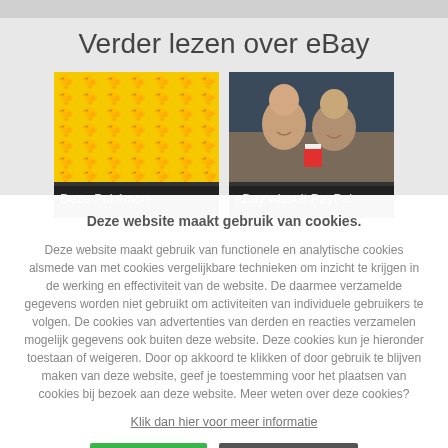Verder lezen over eBay
[Figure (photo): Pokemon-themed yellow patterned image]
Deze Pokémon-
[Figure (photo): Two women smiling watching something]
eBay wisselt PayPal
Deze website maakt gebruik van cookies.
Deze website maakt gebruik van functionele en analytische cookies alsmede van met cookies vergelijkbare technieken om inzicht te krijgen in de werking en effectiviteit van de website. De daarmee verzamelde gegevens worden niet gebruikt om activiteiten van individuele gebruikers te volgen. De cookies van advertenties van derden en reacties verzamelen mogelijk gegevens ook buiten deze website. Deze cookies kun je hieronder toestaan of weigeren. Door op akkoord te klikken of door gebruik te blijven maken van deze website, geef je toestemming voor het plaatsen van cookies bij bezoek aan deze website. Meer weten over deze cookies?
Klik dan hier voor meer informatie
Akkoord
Niet akkoord